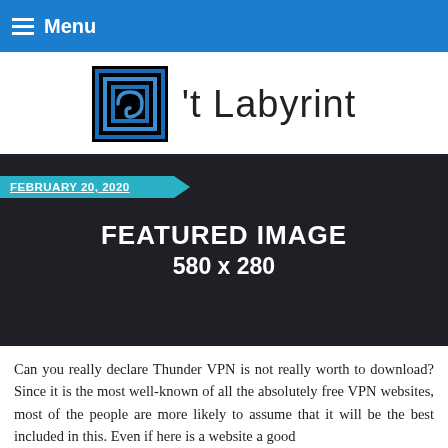Menu
[Figure (logo): Square labyrinth spiral logo icon in blue gradient with black border, followed by the text 't Labyrint]
FEBRUARY 20, 2020
[Figure (other): Dark featured image placeholder box with text 'FEATURED IMAGE 580 x 280' centered in white bold text]
Can you really declare Thunder VPN is not really worth to download? Since it is the most well-known of all the absolutely free VPN websites, most of the people are more likely to assume that it will be the best included in this. Even if here is a website a good